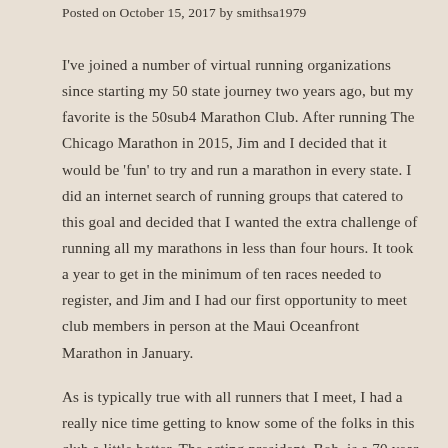Posted on October 15, 2017 by smithsa1979
I've joined a number of virtual running organizations since starting my 50 state journey two years ago, but my favorite is the 50sub4 Marathon Club. After running The Chicago Marathon in 2015, Jim and I decided that it would be 'fun' to try and run a marathon in every state. I did an internet search of running groups that catered to this goal and decided that I wanted the extra challenge of running all my marathons in less than four hours. It took a year to get in the minimum of ten races needed to register, and Jim and I had our first opportunity to meet club members in person at the Maui Oceanfront Marathon in January.
As is typically true with all runners that I meet, I had a really nice time getting to know some of the folks in this club a little better. The acting president, Bob, is a 70 year old man who at the time,